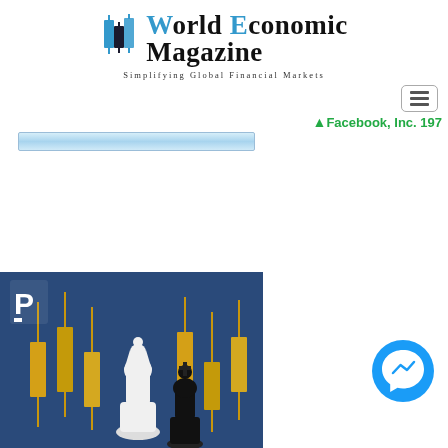[Figure (logo): World Economic Magazine logo with blue candlestick-like icon and text 'World Economic Magazine — Simplifying Global Financial Markets']
Facebook, Inc. 197
[Figure (illustration): Blue background image showing gold candlestick chart elements and two chess pieces (white queen and black king), with a white 'P' logo icon in the top left corner]
[Figure (other): Facebook Messenger circular blue button icon]